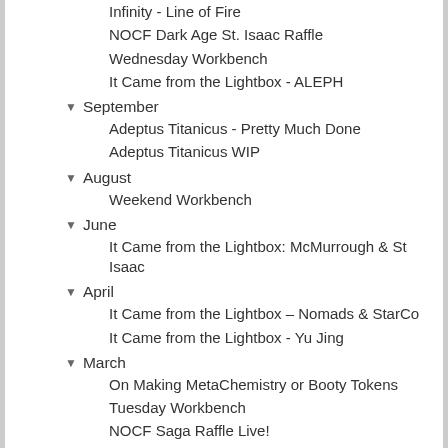Infinity - Line of Fire
NOCF Dark Age St. Isaac Raffle
Wednesday Workbench
It Came from the Lightbox - ALEPH
▼ September
Adeptus Titanicus - Pretty Much Done
Adeptus Titanicus WIP
▼ August
Weekend Workbench
▼ June
It Came from the Lightbox: McMurrough & St Isaac
▼ April
It Came from the Lightbox – Nomads & StarCo
It Came from the Lightbox - Yu Jing
▼ March
On Making MetaChemistry or Booty Tokens
Tuesday Workbench
NOCF Saga Raffle Live!
It Came from the Lightbox - Shadespire Skaven